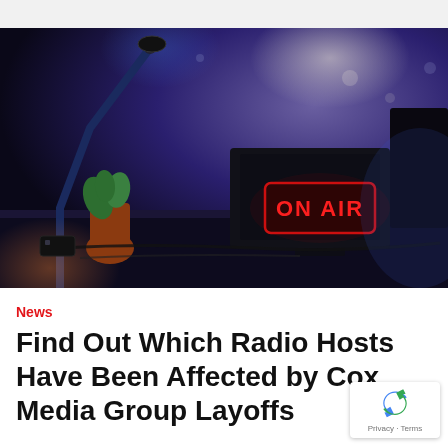[Figure (photo): A radio studio with an illuminated red 'ON AIR' sign on a desk, with microphone arm, laptop, and broadcasting equipment, lit in moody blue and purple lighting.]
News
Find Out Which Radio Hosts Have Been Affected by Cox Media Group Layoffs